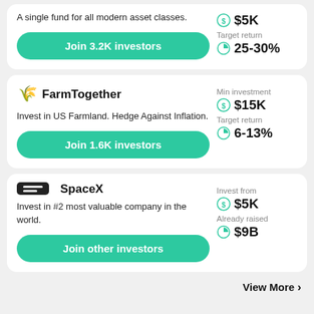A single fund for all modern asset classes.
Join 3.2K investors
Min investment $5K
Target return 25-30%
FarmTogether
Invest in US Farmland. Hedge Against Inflation.
Join 1.6K investors
Min investment $15K
Target return 6-13%
SpaceX
Invest in #2 most valuable company in the world.
Join other investors
Invest from $5K
Already raised $9B
View More